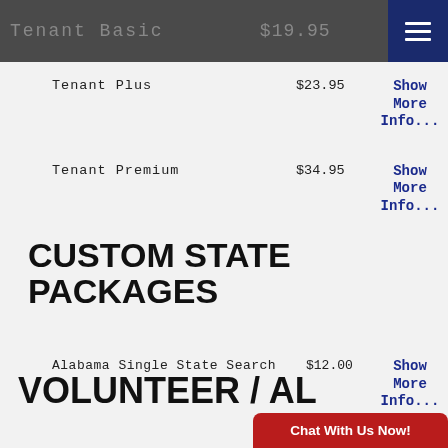Tenant Basic  $19.95
Info...
| Product | Price | Action |
| --- | --- | --- |
| Tenant Plus | $23.95 | Show More Info... |
| Tenant Premium | $34.95 | Show More Info... |
| Alabama Single State Search | $12.00 | Show More Info... |
CUSTOM STATE PACKAGES
VOLUNTEER / AL...
Chat With Us Now!